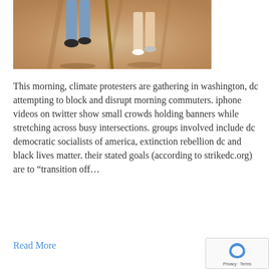[Figure (photo): Outdoor photo showing two people walking on a gravel path, cropped to show only their lower bodies and legs. Sandy/gravel ground with tree shadows visible.]
This morning, climate protesters are gathering in washington, dc attempting to block and disrupt morning commuters. iphone videos on twitter show small crowds holding banners while stretching across busy intersections. groups involved include dc democratic socialists of america, extinction rebellion dc and black lives matter. their stated goals (according to strikedc.org) are to “transition off…
Read More